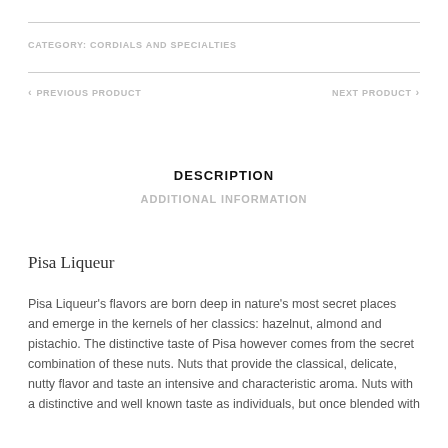CATEGORY: CORDIALS AND SPECIALTIES
< PREVIOUS PRODUCT   NEXT PRODUCT >
DESCRIPTION
ADDITIONAL INFORMATION
Pisa Liqueur
Pisa Liqueur's flavors are born deep in nature's most secret places and emerge in the kernels of her classics: hazelnut, almond and pistachio. The distinctive taste of Pisa however comes from the secret combination of these nuts. Nuts that provide the classical, delicate, nutty flavor and taste an intensive and characteristic aroma. Nuts with a distinctive and well known taste as individuals, but once blended with